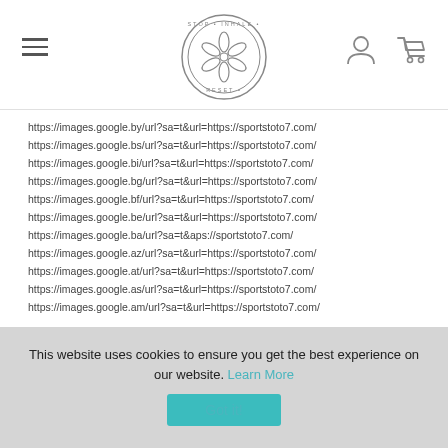[Figure (logo): Stop Inhale Reset circular logo with floral pattern in the center]
https://images.google.by/url?sa=t&url=https://sportstoto7.com/
https://images.google.bs/url?sa=t&url=https://sportstoto7.com/
https://images.google.bi/url?sa=t&url=https://sportstoto7.com/
https://images.google.bg/url?sa=t&url=https://sportstoto7.com/
https://images.google.bf/url?sa=t&url=https://sportstoto7.com/
https://images.google.be/url?sa=t&url=https://sportstoto7.com/
https://images.google.ba/url?sa=t&aps://sportstoto7.com/
https://images.google.az/url?sa=t&url=https://sportstoto7.com/
https://images.google.at/url?sa=t&url=https://sportstoto7.com/
https://images.google.as/url?sa=t&url=https://sportstoto7.com/
https://images.google.am/url?sa=t&url=https://sportstoto7.com/
This website uses cookies to ensure you get the best experience on our website. Learn More
Got it!